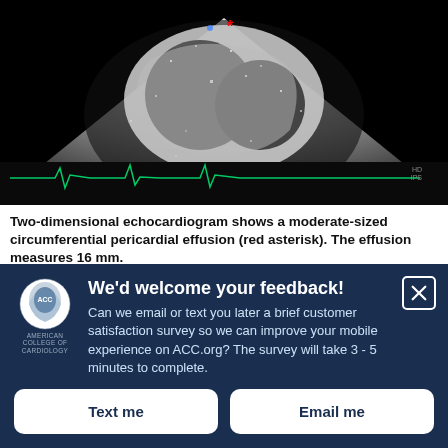[Figure (photo): Two-dimensional echocardiogram image showing cardiac structures with a circumferential pericardial effusion (red asterisk). An ECG tracing is visible at the bottom of the image. Black background with grey-white cardiac ultrasound image.]
Two-dimensional echocardiogram shows a moderate-sized circumferential pericardial effusion (red asterisk). The effusion measures 16 mm.
Video 1: Short Axis
We'd welcome your feedback! Can we email or text you later a brief customer satisfaction survey so we can improve your mobile experience on ACC.org? The survey will take 3 - 5 minutes to complete.